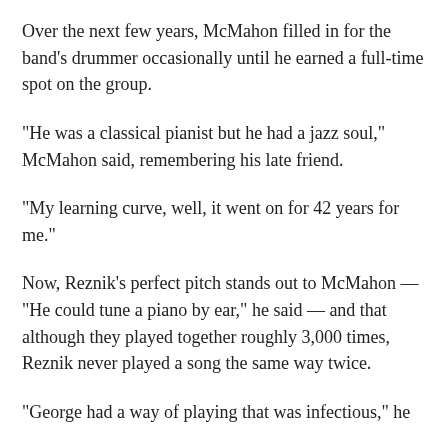Over the next few years, McMahon filled in for the band's drummer occasionally until he earned a full-time spot on the group.
"He was a classical pianist but he had a jazz soul," McMahon said, remembering his late friend.
"My learning curve, well, it went on for 42 years for me."
Now, Reznik's perfect pitch stands out to McMahon — "He could tune a piano by ear," he said — and that although they played together roughly 3,000 times, Reznik never played a song the same way twice.
"George had a way of playing that was infectious," he